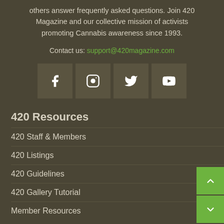others answer frequently asked questions. Join 420 Magazine and our collective mission of activists promoting Cannabis awareness since 1993.
Contact us: support@420magazine.com
[Figure (other): Four social media icon buttons: Facebook, Instagram, Twitter, YouTube on dark background boxes]
420 Resources
420 Staff & Members
420 Listings
420 Guidelines
420 Gallery Tutorial
Member Resources